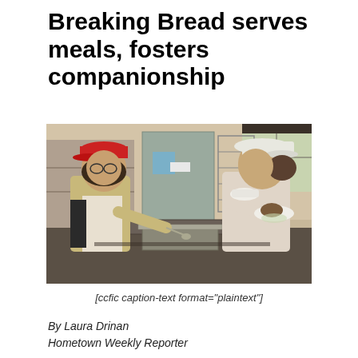Breaking Bread serves meals, fosters companionship
[Figure (photo): Two women working in a kitchen serving food. One woman on the left wears a red cap and tan uniform with an apron, serving from a metal pan. A second woman on the right wears a white cap and light pink long-sleeve shirt, holding a plate with food. Kitchen equipment and shelving visible in background.]
[ccfic caption-text format="plaintext"]
By Laura Drinan
Hometown Weekly Reporter